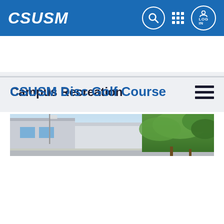CSUSM
Campus Recreation
CSUSM Disc Golf Course
[Figure (photo): Outdoor campus photo showing a building on the left, a flag pole, open sky, and trees on the right — the CSUSM Disc Golf Course area.]